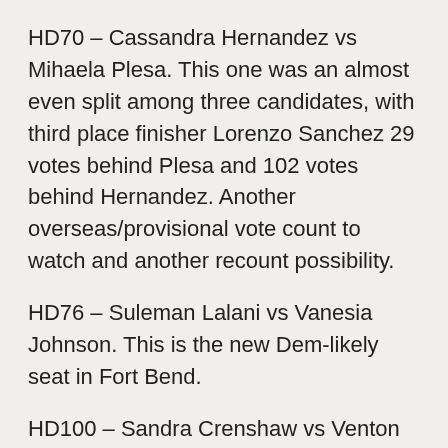HD70 – Cassandra Hernandez vs Mihaela Plesa. This one was an almost even split among three candidates, with third place finisher Lorenzo Sanchez 29 votes behind Plesa and 102 votes behind Hernandez. Another overseas/provisional vote count to watch and another recount possibility.
HD76 – Suleman Lalani vs Vanesia Johnson. This is the new Dem-likely seat in Fort Bend.
HD100 – Sandra Crenshaw vs Venton Jones.
HD114 – Alexandra Guio vs John Bryant. Bryant was a Dem Congressman in the 90's, in the old CD05. After winning a squeaker against Pete Sessions in 1994, Bryant tried his luck in the primary for Senate in 1996, eventually losing in a runoff to Victor Morales. Bryant just turned 75 (why anyone would want to get back…